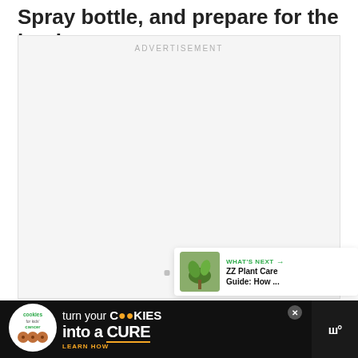Spray bottle, and prepare for the battle.
[Figure (screenshot): Advertisement placeholder box with 'ADVERTISEMENT' label and three gray dots at center bottom]
[Figure (infographic): Green heart/like button with count '3' and share button floating on right side]
[Figure (screenshot): What's Next promotional card: ZZ Plant Care Guide: How ... with plant thumbnail image]
[Figure (screenshot): Bottom banner ad: Cookies for Kids' Cancer - turn your cookies into a CURE LEARN HOW, with close X button and MW logo]